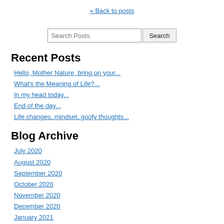« Back to posts
Recent Posts
Hello, Mother Nature, bring on your...
What's the Meaning of Life?...
In my head today...
End of the day...
Life changes, mindset, goofy thoughts...
Blog Archive
July 2020
August 2020
September 2020
October 2020
November 2020
December 2020
January 2021
February 2021
March 2021
April 2021